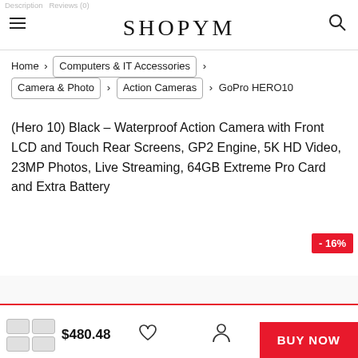Description   Reviews (0)
SHOPYM
Home > Computers & IT Accessories > Camera & Photo > Action Cameras > GoPro HERO10 (Hero 10) Black – Waterproof Action Camera with Front LCD and Touch Rear Screens, GP2 Engine, 5K HD Video, 23MP Photos, Live Streaming, 64GB Extreme Pro Card and Extra Battery
- 16%
$480.48
BUY NOW